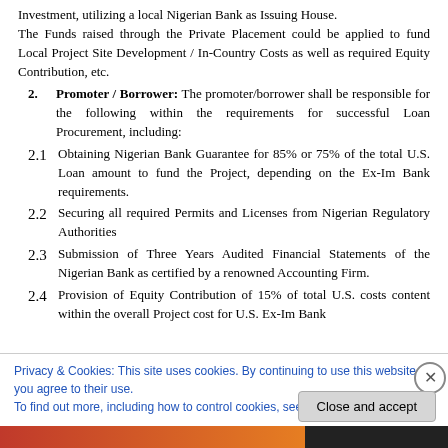Investment, utilizing a local Nigerian Bank as Issuing House. The Funds raised through the Private Placement could be applied to fund Local Project Site Development / In-Country Costs as well as required Equity Contribution, etc.
2. Promoter / Borrower: The promoter/borrower shall be responsible for the following within the requirements for successful Loan Procurement, including:
2.1 Obtaining Nigerian Bank Guarantee for 85% or 75% of the total U.S. Loan amount to fund the Project, depending on the Ex-Im Bank requirements.
2.2 Securing all required Permits and Licenses from Nigerian Regulatory Authorities
2.3 Submission of Three Years Audited Financial Statements of the Nigerian Bank as certified by a renowned Accounting Firm.
2.4 Provision of Equity Contribution of 15% of total U.S. costs content within the overall Project cost for U.S. Ex-Im Bank
Privacy & Cookies: This site uses cookies. By continuing to use this website, you agree to their use. To find out more, including how to control cookies, see here: Cookie Policy
Close and accept